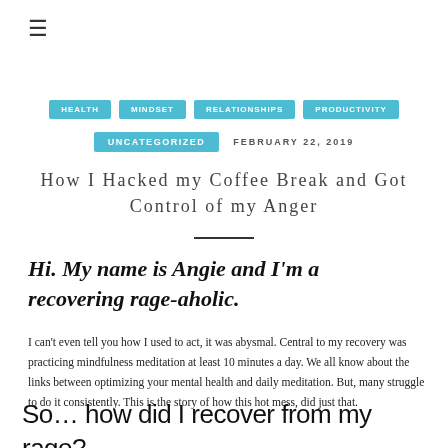≡
[Figure (screenshot): Navigation tab bar with four teal/cyan pill-shaped category tabs (partially visible)]
UNCATEGORIZED   FEBRUARY 22, 2019
How I Hacked my Coffee Break and Got Control of my Anger
Hi. My name is Angie and I'm a recovering rage-aholic.
I can't even tell you how I used to act, it was abysmal. Central to my recovery was practicing mindfulness meditation at least 10 minutes a day. We all know about the links between optimizing your mental health and daily meditation. But, many struggle to do it consistently. This is the story of how this hot mess, did just that.
So… how did I recover from my rage?